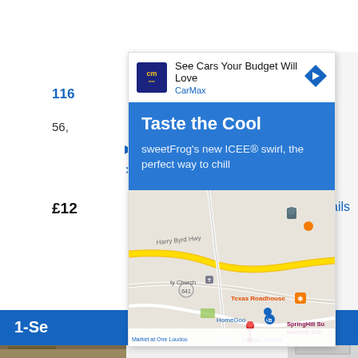116
56,
£12
etails
1-Se
[Figure (screenshot): CarMax advertisement banner with logo, headline 'See Cars Your Budget Will Love', brand name 'CarMax', and navigation arrow icon]
[Figure (screenshot): sweetFrog advertisement with blue background. Title: 'Taste the Cool'. Body text: sweetFrog's new ICEE® swirl, the perfect way to chill. Below is a Google Maps view showing Harry Byrd Hwy, Texas Roadhouse, HomeGoods, SpringHill Su Marriott Ash, EatLoco Farmer Market at One Loudou, and a red location pin.]